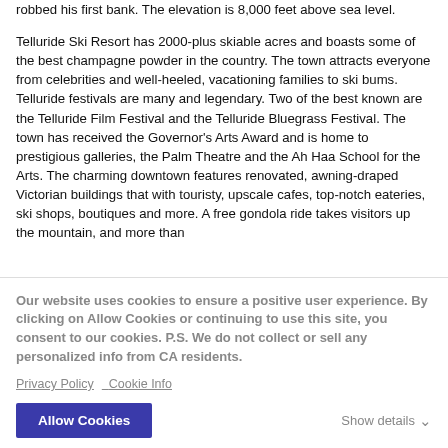robbed his first bank. The elevation is 8,000 feet above sea level.
Telluride Ski Resort has 2000-plus skiable acres and boasts some of the best champagne powder in the country. The town attracts everyone from celebrities and well-heeled, vacationing families to ski bums. Telluride festivals are many and legendary. Two of the best known are the Telluride Film Festival and the Telluride Bluegrass Festival. The town has received the Governor's Arts Award and is home to prestigious galleries, the Palm Theatre and the Ah Haa School for the Arts. The charming downtown features renovated, awning-draped Victorian buildings that with touristy, upscale cafes, top-notch eateries, ski shops, boutiques and more. A free gondola ride takes visitors up the mountain, and more than
Our website uses cookies to ensure a positive user experience. By clicking on Allow Cookies or continuing to use this site, you consent to our cookies. P.S. We do not collect or sell any personalized info from CA residents.
Privacy Policy   Cookie Info
Allow Cookies
Show details